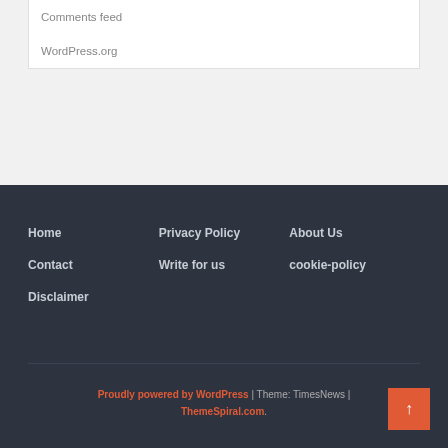Comments feed
WordPress.org
Home
Privacy Policy
About Us
Contact
Write for us
cookie-policy
Disclaimer
Proudly powered by WordPress | Theme: TimesNews | ThemeSpiral.com.